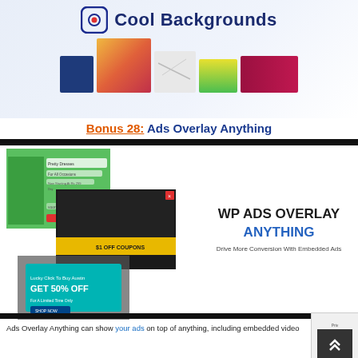[Figure (screenshot): Cool Backgrounds app logo and colorful background swatches on a light blue-white gradient background]
Bonus 28: Ads Overlay Anything
[Figure (screenshot): WP Ads Overlay Anything product screenshot showing various ad overlays on websites, with text: WP ADS OVERLAY ANYTHING - Drive More Conversion With Embedded Ads]
Ads Overlay Anything can show your ads on top of anything, including embedded video